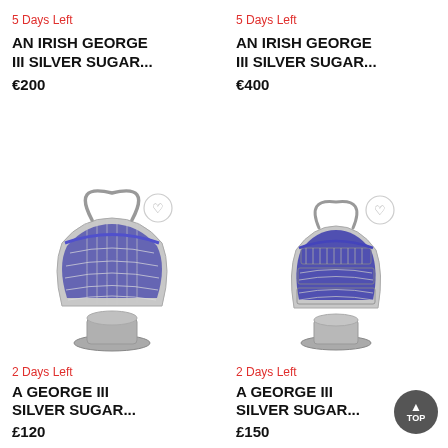5 Days Left
AN IRISH GEORGE III SILVER SUGAR...
€200
5 Days Left
AN IRISH GEORGE III SILVER SUGAR...
€400
[Figure (photo): Silver George III sugar basket with blue glass liner and decorative pierced metalwork, with handle, on pedestal base]
2 Days Left
A GEORGE III SILVER SUGAR...
£120
[Figure (photo): Silver George III sugar basket with blue glass liner and pierced decorative metalwork, with handle, on pedestal base]
2 Days Left
A GEORGE III SILVER SUGAR...
£150